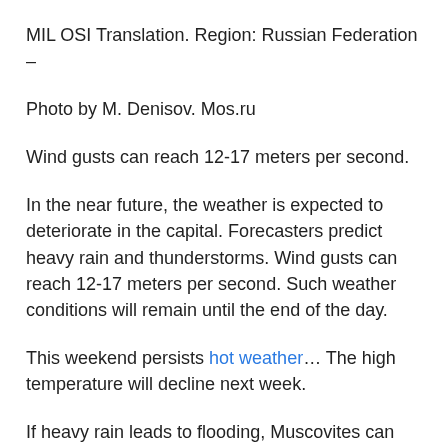MIL OSI Translation. Region: Russian Federation –
Photo by M. Denisov. Mos.ru
Wind gusts can reach 12-17 meters per second.
In the near future, the weather is expected to deteriorate in the capital. Forecasters predict heavy rain and thunderstorms. Wind gusts can reach 12-17 meters per second. Such weather conditions will remain until the end of the day.
This weekend persists hot weather… The high temperature will decline next week.
If heavy rain leads to flooding, Muscovites can report them to the round-the-clock central dispatch service of the State